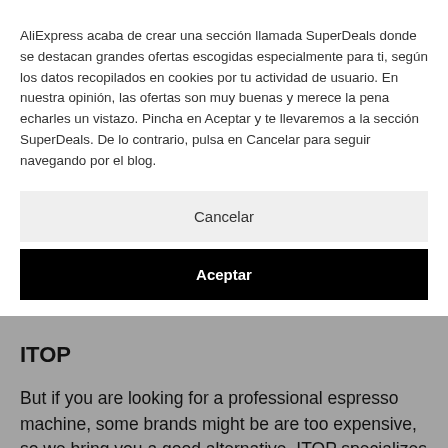AliExpress acaba de crear una sección llamada SuperDeals donde se destacan grandes ofertas escogidas especialmente para ti, según los datos recopilados en cookies por tu actividad de usuario. En nuestra opinión, las ofertas son muy buenas y merece la pena echarles un vistazo. Pincha en Aceptar y te llevaremos a la sección SuperDeals. De lo contrario, pulsa en Cancelar para seguir navegando por el blog.
Cancelar
Aceptar
ITOP
But if you are looking for a professional espresso machine, some brands might be are too expensive, so we bring you a good alternative. ITOP specializes in high quality automatic or semi-automatic espresso